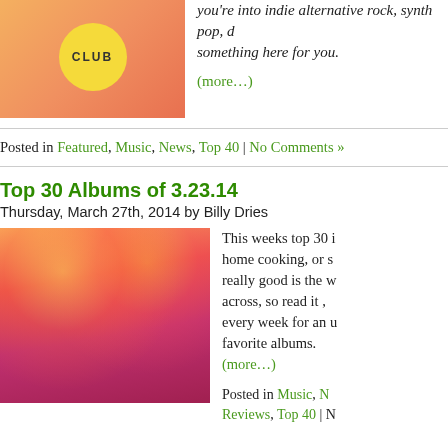[Figure (photo): Album cover or logo with 'CLUB' text on orange/yellow background with a yellow circle]
you're into indie alternative rock, synth pop, d something here for you.
(more…)
Posted in Featured, Music, News, Top 40 | No Comments »
Top 30 Albums of 3.23.14
Thursday, March 27th, 2014 by Billy Dries
[Figure (photo): Concert photo of a performer with long hair and sunglasses singing into a microphone under stage lights, heavy red/orange tint]
This weeks top 30 i home cooking, or s really good is the w across, so read it , every week for an u favorite albums.
(more…)
Posted in Music, N Reviews, Top 40 | N